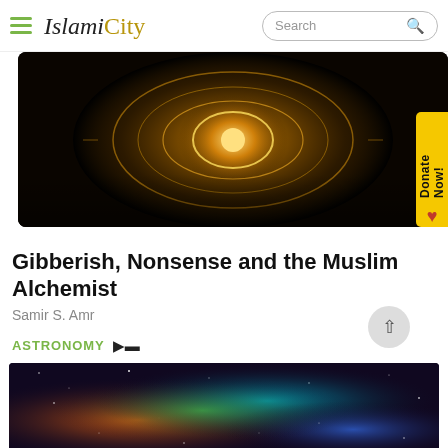IslamiCity
[Figure (photo): Dark spiral pattern with glowing golden light in the center, appearing to be an ornate ceiling or astronomical design]
Gibberish, Nonsense and the Muslim Alchemist
Samir S. Amr
ASTRONOMY
[Figure (photo): Colorful nebula in space with orange, red, green, and blue hues against a dark background filled with stars]